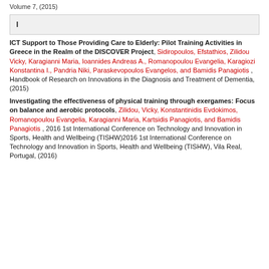Volume 7, (2015)
I
ICT Support to Those Providing Care to Elderly: Pilot Training Activities in Greece in the Realm of the DISCOVER Project, Sidiropoulos, Efstathios, Zilidou Vicky, Karagianni Maria, Ioannides Andreas A., Romanopoulou Evangelia, Karagiozi Konstantina I., Pandria Niki, Paraskevopoulos Evangelos, and Bamidis Panagiotis , Handbook of Research on Innovations in the Diagnosis and Treatment of Dementia, (2015)
Investigating the effectiveness of physical training through exergames: Focus on balance and aerobic protocols, Zilidou, Vicky, Konstantinidis Evdokimos, Romanopoulou Evangelia, Karagianni Maria, Kartsidis Panagiotis, and Bamidis Panagiotis , 2016 1st International Conference on Technology and Innovation in Sports, Health and Wellbeing (TISHW)2016 1st International Conference on Technology and Innovation in Sports, Health and Wellbeing (TISHW), Vila Real, Portugal, (2016)